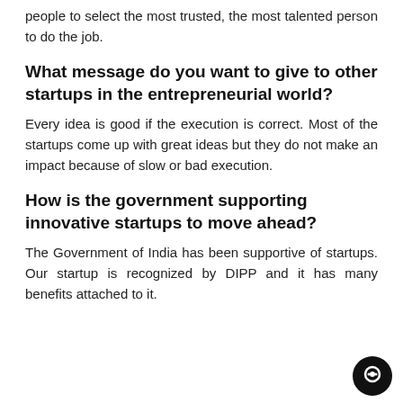people to select the most trusted, the most talented person to do the job.
What message do you want to give to other startups in the entrepreneurial world?
Every idea is good if the execution is correct. Most of the startups come up with great ideas but they do not make an impact because of slow or bad execution.
How is the government supporting innovative startups to move ahead?
The Government of India has been supportive of startups. Our startup is recognized by DIPP and it has many benefits attached to it.